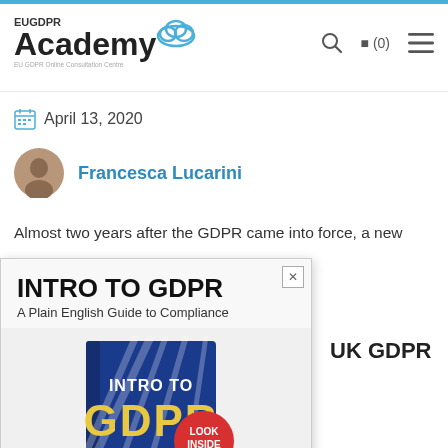EU GDPR Academy – EU GDPR Online Consultation Centre
April 13, 2020
Francesca Lucarini
Almost two years after the GDPR came into force, a new
[Figure (illustration): Advertisement popup for 'INTRO TO GDPR – A Plain English Guide to Compliance' e-book with book cover showing 'INTRO TO GDPR' text with a red 'LOOK INSIDE' badge and gold stars, with a blue 'DOWNLOAD E-BOOK' bar at the bottom]
UK GDPR